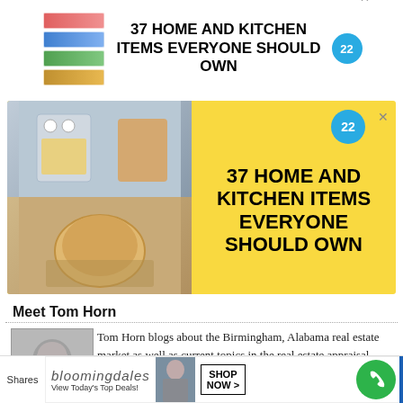[Figure (advertisement): Top banner ad: colorful zip-lock bags image with bold text '37 HOME AND KITCHEN ITEMS EVERYONE SHOULD OWN' and blue circle with '22']
[Figure (advertisement): Second larger ad banner with yellow background, two food/kitchen photos on left, bold text '37 HOME AND KITCHEN ITEMS EVERYONE SHOULD OWN' and blue '22' circle on right]
Meet Tom Horn
[Figure (photo): Black and white headshot photo of Tom Horn, a middle-aged man smiling]
Tom Horn blogs about the Birmingham, Alabama real estate market as well as current topics in the real estate appraisal appraisal field. Read More…
What Tom's Clients Say...
[Figure (advertisement): Bottom banner ad: Bloomingdale's ad with logo, 'View Today's Top Deals!' text, fashion model photo, and 'SHOP NOW >' button]
Shares
CLOSE